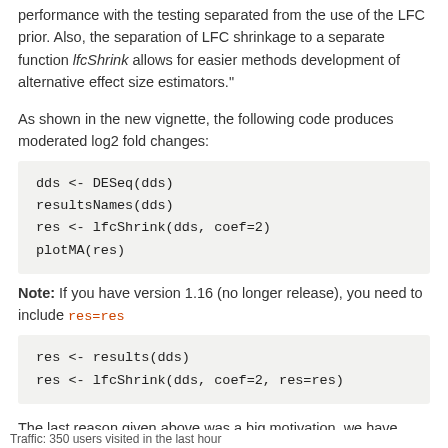performance with the testing separated from the use of the LFC prior. Also, the separation of LFC shrinkage to a separate function lfcShrink allows for easier methods development of alternative effect size estimators."
As shown in the new vignette, the following code produces moderated log2 fold changes:
dds <- DESeq(dds)
resultsNames(dds)
res <- lfcShrink(dds, coef=2)
plotMA(res)
Note: If you have version 1.16 (no longer release), you need to include res=res
res <- results(dds)
res <- lfcShrink(dds, coef=2, res=res)
The last reason given above was a big motivation, we have some nice new estimators with better performance than the one we proposed in the 2014 paper, and this new function allows for better control of these without cluttering
Traffic: 350 users visited in the last hour